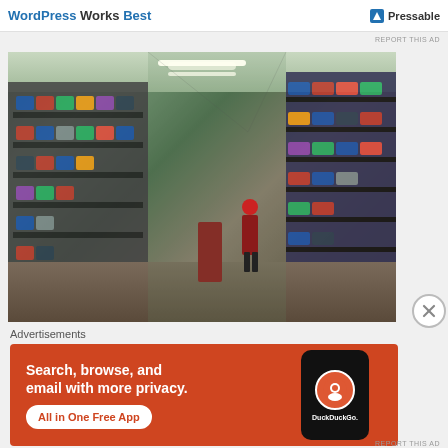WordPress Works Best | Pressable
REPORT THIS AD
[Figure (photo): Indoor market or bazaar with long aisles lined with shelves stacked full of shoes and sneakers on both sides, a person in a red jacket walking through the center aisle, corrugated metal ceiling with fluorescent lighting.]
Advertisements
[Figure (infographic): DuckDuckGo advertisement banner with orange background. Text: Search, browse, and email with more privacy. All in One Free App. Shows a phone mockup with DuckDuckGo logo.]
REPORT THIS AD